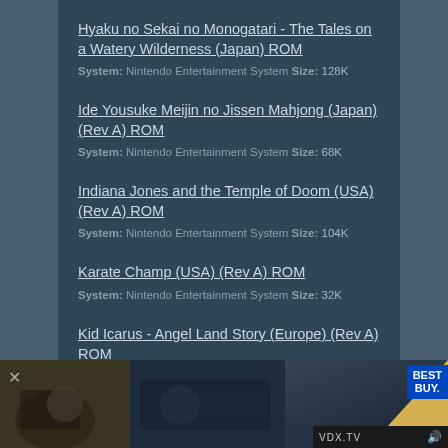Hyaku no Sekai no Monogatari - The Tales on a Watery Wilderness (Japan) ROM
System: Nintendo Entertainment System Size: 128K
Ide Yousuke Meijin no Jissen Mahjong (Japan) (Rev A) ROM
System: Nintendo Entertainment System Size: 68K
Indiana Jones and the Temple of Doom (USA) (Rev A) ROM
System: Nintendo Entertainment System Size: 104K
Karate Champ (USA) (Rev A) ROM
System: Nintendo Entertainment System Size: 32K
Kid Icarus - Angel Land Story (Europe) (Rev A) ROM
[Figure (screenshot): Advertisement banner at the bottom of the page showing Best Buy ad with VDX.TV branding and a page curl effect]